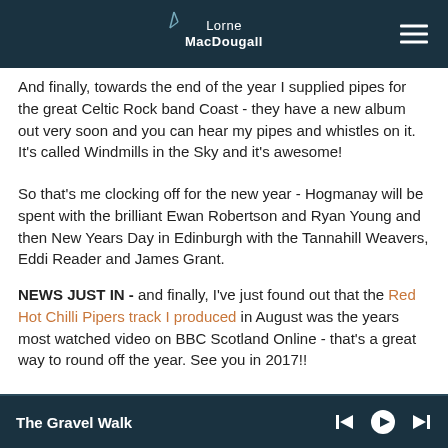Lorne MacDougall
And finally, towards the end of the year I supplied pipes for the great Celtic Rock band Coast - they have a new album out very soon and you can hear my pipes and whistles on it.  It's called Windmills in the Sky and it's awesome!
So that's me clocking off for the new year - Hogmanay will be spent with the brilliant Ewan Robertson and Ryan Young and then New Years Day in Edinburgh with the Tannahill Weavers, Eddi Reader and James Grant.
NEWS JUST IN - and finally, I've just found out that the Red Hot Chilli Pipers track I produced in August was the years most watched video on BBC Scotland Online - that's a great way to round off the year.  See you in 2017!!
The Gravel Walk